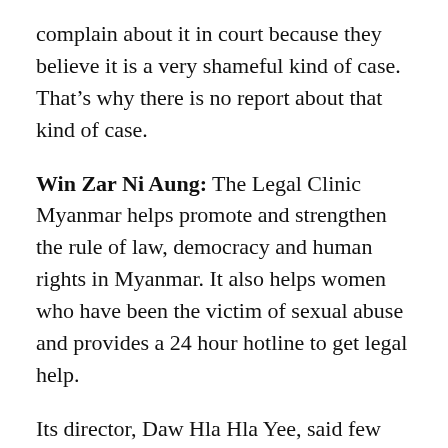complain about it in court because they believe it is a very shameful kind of case. That’s why there is no report about that kind of case.
Win Zar Ni Aung: The Legal Clinic Myanmar helps promote and strengthen the rule of law, democracy and human rights in Myanmar. It also helps women who have been the victim of sexual abuse and provides a 24 hour hotline to get legal help.
Its director, Daw Hla Hla Yee, said few women complain because they do not understand the law.
Daw Hla Hla Yee: There is no understanding how to present in court step by step and no mechanism for prompt investigation . Some of the cases will be